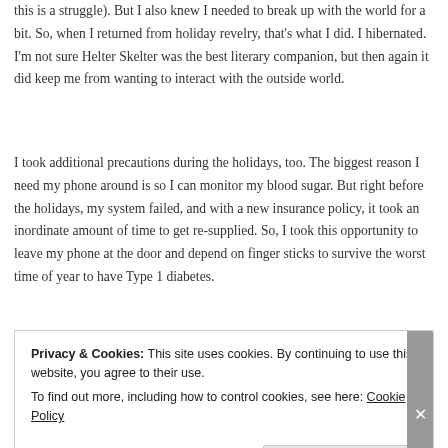this is a struggle). But I also knew I needed to break up with the world for a bit. So, when I returned from holiday revelry, that's what I did. I hibernated. I'm not sure Helter Skelter was the best literary companion, but then again it did keep me from wanting to interact with the outside world.
I took additional precautions during the holidays, too. The biggest reason I need my phone around is so I can monitor my blood sugar. But right before the holidays, my system failed, and with a new insurance policy, it took an inordinate amount of time to get re-supplied. So, I took this opportunity to leave my phone at the door and depend on finger sticks to survive the worst time of year to have Type 1 diabetes.
Privacy & Cookies: This site uses cookies. By continuing to use this website, you agree to their use.
To find out more, including how to control cookies, see here: Cookie Policy
Close and accept